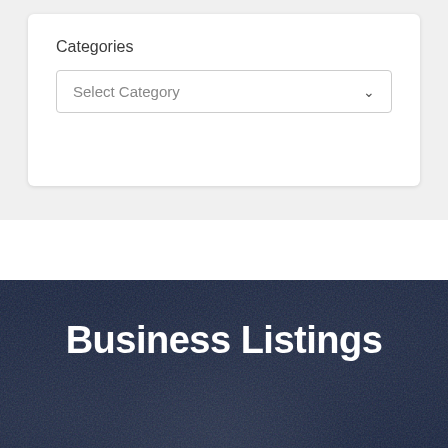Categories
Select Category
[Figure (screenshot): Dark textured background with navy blue color serving as the background for the Business Listings section]
Business Listings
GO4 Junk Removal – Howell
June 16, 2022